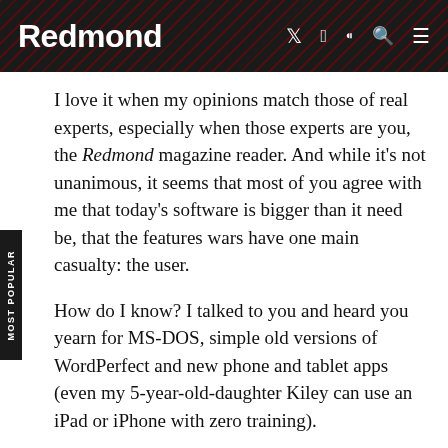Redmond
I love it when my opinions match those of real experts, especially when those experts are you, the Redmond magazine reader. And while it's not unanimous, it seems that most of you agree with me that today's software is bigger than it need be, that the features wars have one main casualty: the user.
How do I know? I talked to you and heard you yearn for MS-DOS, simple old versions of WordPerfect and new phone and tablet apps (even my 5-year-old-daughter Kiley can use an iPad or iPhone with zero training).
So now we have two contrasting trends. Client and server apps are more bloated than an uncle on Thanksgiving night. Windows 7, Office 2010, et al